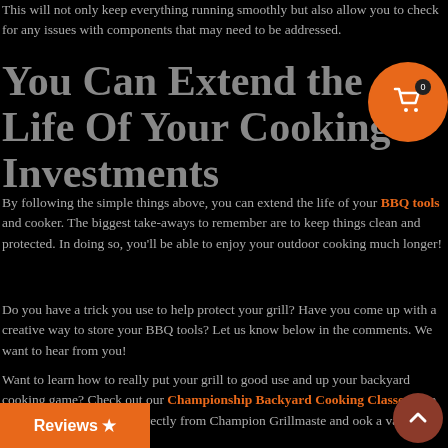This will not only keep everything running smoothly but also allow you to check for any issues with components that may need to be addressed.
You Can Extend the Life Of Your Cooking Investments
By following the simple things above, you can extend the life of your BBQ tools and cooker. The biggest take-aways to remember are to keep things clean and protected. In doing so, you'll be able to enjoy your outdoor cooking much longer!
Do you have a trick you use to help protect your grill? Have you come up with a creative way to store your BBQ tools? Let us know below in the comments. We want to hear from you!
Want to learn how to really put your grill to good use and up your backyard cooking game? Check out our Championship Backyard Cooking Classes here at the Academy. You can learn directly from Champion Grillmasters and cook a variety of different BBQ favorites.